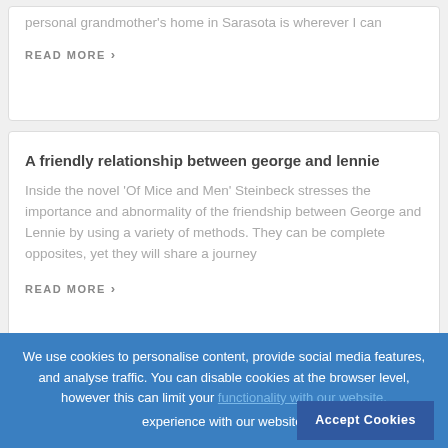personal grandmother's home in Sarasota is wherever I can
READ MORE ›
A friendly relationship between george and lennie
Inside the novel 'Of Mice and Men' Steinbeck stresses the importance and abnormality of the friendship between George and Lennie by using a variety of methods. They can be complete opposites, yet they will share a journey
READ MORE ›
We use cookies to personalise content, provide social media features, and analyse traffic. You can disable cookies at the browser level, however this can limit your functionality with our website. Accept Cookies